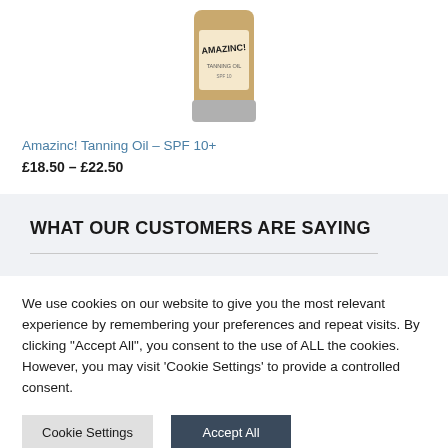[Figure (photo): Partial view of Amazinc! Tanning Oil product bottle, cropped at top of page]
Amazinc! Tanning Oil – SPF 10+
£18.50 – £22.50
WHAT OUR CUSTOMERS ARE SAYING
We use cookies on our website to give you the most relevant experience by remembering your preferences and repeat visits. By clicking "Accept All", you consent to the use of ALL the cookies. However, you may visit 'Cookie Settings' to provide a controlled consent.
Cookie Settings | Accept All